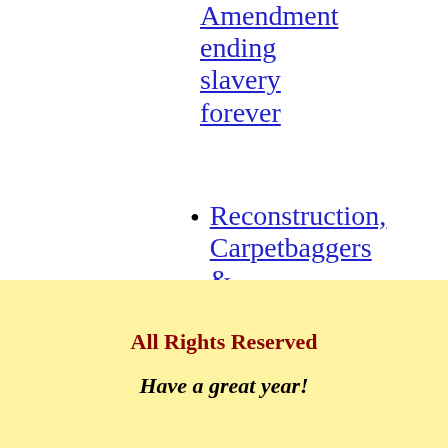Amendment ending slavery forever
Reconstruction, Carpetbaggers & Scalawags
14th & 15th Amendments
All Rights Reserved
Have a great year!